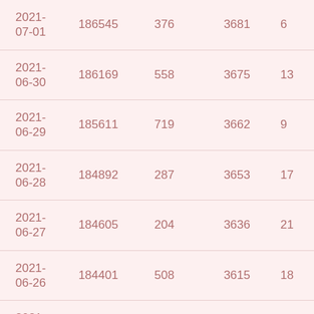| 2021-07-01 | 186545 | 376 | 3681 | 6 |
| 2021-06-30 | 186169 | 558 | 3675 | 13 |
| 2021-06-29 | 185611 | 719 | 3662 | 9 |
| 2021-06-28 | 184892 | 287 | 3653 | 17 |
| 2021-06-27 | 184605 | 204 | 3636 | 21 |
| 2021-06-26 | 184401 | 508 | 3615 | 18 |
| 2021-06-25 | 183893 | 646 | 3597 | 18 |